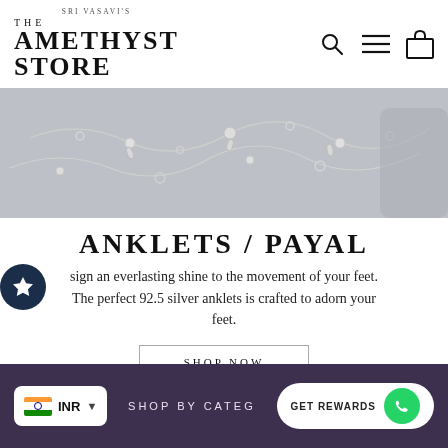[Figure (logo): The Amethyst Store logo with 'Sri Vasavi's' text above]
[Figure (illustration): Grey banner with illustrated silver anklet/chain designs on light grey background]
ANKLETS / PAYAL
sign an everlasting shine to the movement of your feet. The perfect 92.5 silver anklets is crafted to adorn your feet.
SHOP NOW
SHOP BY CATEG
INR
GET REWARDS